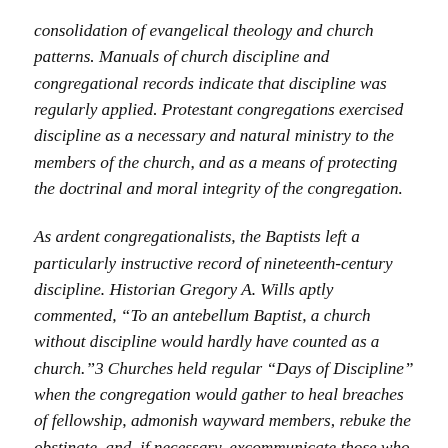consolidation of evangelical theology and church patterns. Manuals of church discipline and congregational records indicate that discipline was regularly applied. Protestant congregations exercised discipline as a necessary and natural ministry to the members of the church, and as a means of protecting the doctrinal and moral integrity of the congregation.
As ardent congregationalists, the Baptists left a particularly instructive record of nineteenth-century discipline. Historian Gregory A. Wills aptly commented, “To an antebellum Baptist, a church without discipline would hardly have counted as a church.”3 Churches held regular “Days of Discipline” when the congregation would gather to heal breaches of fellowship, admonish wayward members, rebuke the obstinate, and, if necessary, excommunicate those who resisted discipline. In so doing,